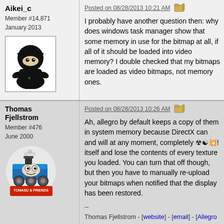Aikei_c
Member #14,871
January 2013
[Figure (illustration): Ninja cartoon avatar - small black ninja character icon]
Posted on 08/28/2013 10:21 AM
I probably have another question then: why does windows task manager show that some memory in use for the bitmap at all, if all of it should be loaded into video memory? I double checked that my bitmaps are loaded as video bitmaps, not memory ones.
Thomas Fjellstrom
Member #476
June 2000
[Figure (illustration): Thomas the Tank Engine cartoon avatar with TOMASU & FRIENDS label]
Posted on 08/28/2013 10:26 AM
Ah, allegro by default keeps a copy of them in system memory because DirectX can and will at any moment, completely ☄️ itself and lose the contents of every texture you loaded. You can turn that off though, but then you have to manually re-upload your bitmaps when notified that the display has been restored.
--
Thomas Fjellstrom - [website] - [email] - [Allegro Wiki] - [Allegro TODO]
"If you can't think of a better solution, don't try to make a better solution." -- weapon_S
"The less evidence we have for what we believe is certain, the more violently we defend beliefs against